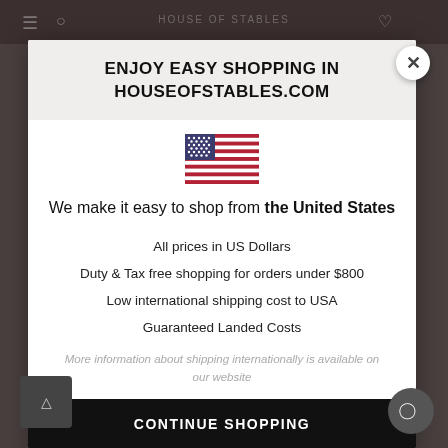[Figure (screenshot): Website popup modal for houseofstables.com showing easy shopping information for US customers]
ENJOY EASY SHOPPING IN HOUSEOFSTABLES.COM
[Figure (illustration): US flag image]
We make it easy to shop from the United States
All prices in US Dollars
Duty & Tax free shopping for orders under $800
Low international shipping cost to USA
Guaranteed Landed Costs
More information about shipping internationally is available on our website
CONTINUE SHOPPING